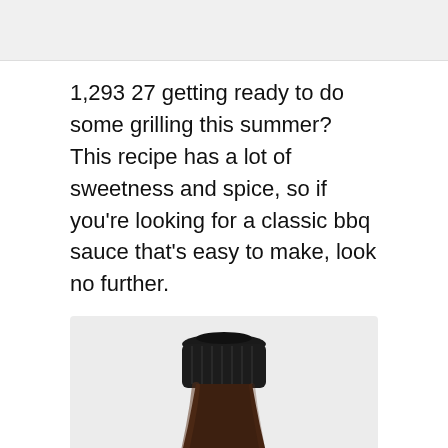1,293 27 getting ready to do some grilling this summer? This recipe has a lot of sweetness and spice, so if you're looking for a classic bbq sauce that's easy to make, look no further.
[Figure (photo): A dark brown BBQ sauce bottle with a black ribbed cap and a yellow label showing a crown logo and partial text.]